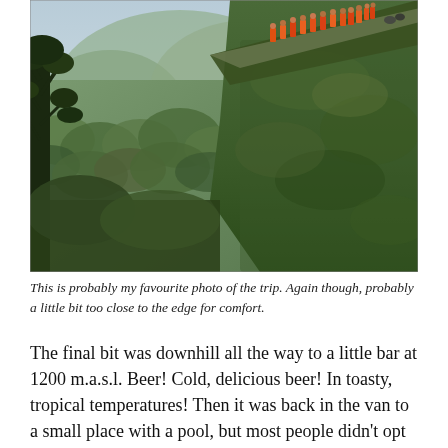[Figure (photo): A dramatic mountain road photograph showing a narrow cliff-side path with a large group of people in orange jackets standing near the edge. The cliff is covered in green moss and vegetation. A deep valley with green forested mountains stretches into the misty background.]
This is probably my favourite photo of the trip. Again though, probably a little bit too close to the edge for comfort.
The final bit was downhill all the way to a little bar at 1200 m.a.s.l. Beer! Cold, delicious beer! In toasty, tropical temperatures! Then it was back in the van to a small place with a pool, but most people didn't opt for swimming in on account of the dubious colour, and a mean buffet food...